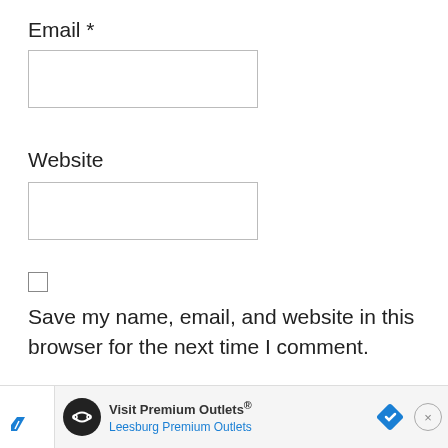Email *
[Figure (other): Empty text input field for Email]
Website
[Figure (other): Empty text input field for Website]
Save my name, email, and website in this browser for the next time I comment.
[Figure (other): Advertisement banner: Visit Premium Outlets® Leesburg Premium Outlets]